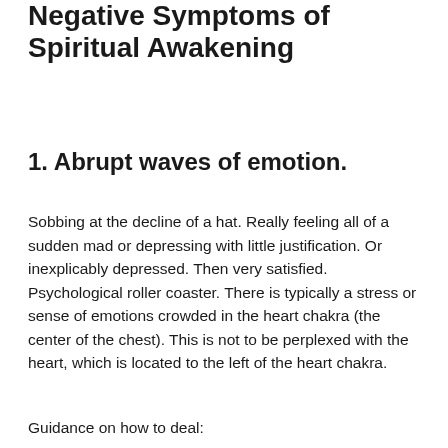Negative Symptoms of Spiritual Awakening
1. Abrupt waves of emotion.
Sobbing at the decline of a hat. Really feeling all of a sudden mad or depressing with little justification. Or inexplicably depressed. Then very satisfied. Psychological roller coaster. There is typically a stress or sense of emotions crowded in the heart chakra (the center of the chest). This is not to be perplexed with the heart, which is located to the left of the heart chakra.
Guidance on how to deal: